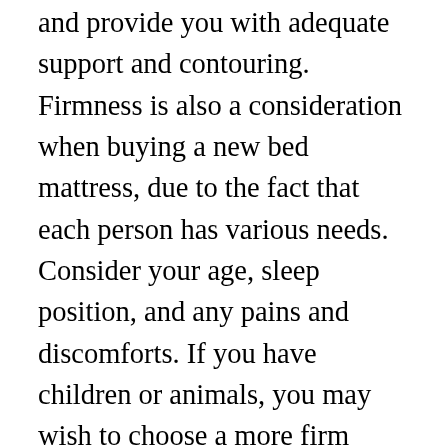and provide you with adequate support and contouring. Firmness is also a consideration when buying a new bed mattress, due to the fact that each person has various needs. Consider your age, sleep position, and any pains and discomforts. If you have children or animals, you may wish to choose a more firm mattress.
While you can get a company mattress without any complaints, you need to keep in mind that it will require to be rotated regularly. It is better to purchase a medium or company mattress, since low-firm bed